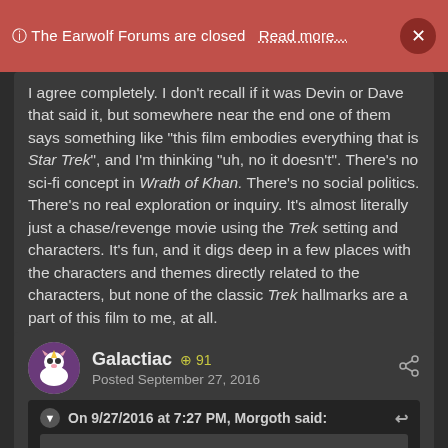ⓘ The Earwolf Forums are closed  Read more…  ×
I agree completely. I don't recall if it was Devin or Dave that said it, but somewhere near the end one of them says something like "this film embodies everything that is Star Trek", and I'm thinking "uh, no it doesn't". There's no sci-fi concept in Wrath of Khan. There's no social politics. There's no real exploration or inquiry. It's almost literally just a chase/revenge movie using the Trek setting and characters. It's fun, and it digs deep in a few places with the characters and themes directly related to the characters, but none of the classic Trek hallmarks are a part of this film to me, at all.
Galactiac  +91  Posted September 27, 2016
On 9/27/2016 at 7:27 PM, Morgoth said: